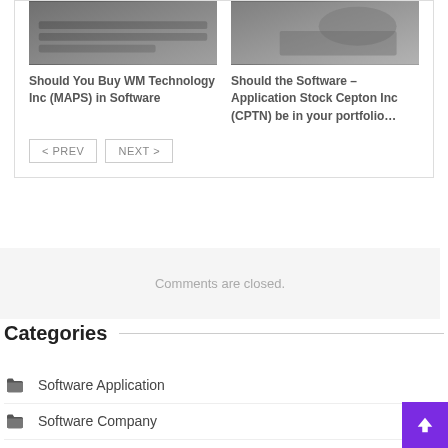[Figure (photo): Laptop keyboard close-up photo]
Should You Buy WM Technology Inc (MAPS) in Software
[Figure (photo): Person using laptop with notebook, hands visible]
Should the Software – Application Stock Cepton Inc (CPTN) be in your portfolio…
< PREV   NEXT >
Comments are closed.
Categories
Software Application
Software Company